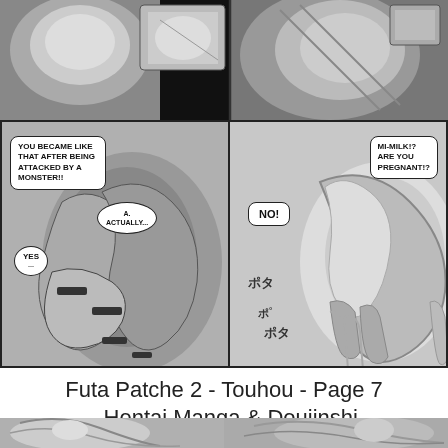[Figure (illustration): Manga/comic page top panel showing anime-style artwork in black and white]
[Figure (illustration): Left manga panel with speech bubbles: 'YOU BECAME LIKE THAT AFTER BEING ATTACKED BY A MONSTER!', 'A. ACTUALLY...', 'YES'. Shows tentacle/monster scene.]
[Figure (illustration): Right manga panel with speech bubbles: 'NO!', 'MI-MILK!? ARE YOU PREGNANT!?'. Shows dripping/liquid scene with sound effects.]
Futa Patche 2 - Touhou - Page 7 - Hentai Manga & Doujinshi
[Figure (illustration): Bottom strip showing two partial manga panels in black and white]